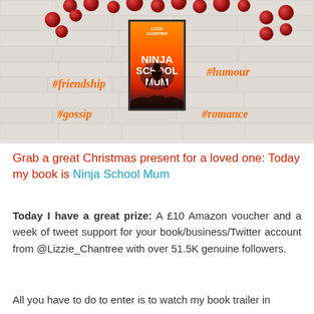[Figure (illustration): Book promotional image showing 'Ninja School Mum' by Lizzie Chantree on a brick wall background with red Christmas baubles and orange hashtags: #friendship, #humour, #gossip, #romance]
Grab a great Christmas present for a loved one: Today my book is Ninja School Mum
Today I have a great prize: A £10 Amazon voucher and a week of tweet support for your book/business/Twitter account from @Lizzie_Chantree with over 51.5K genuine followers.
All you have to do to enter is to watch my book trailer in